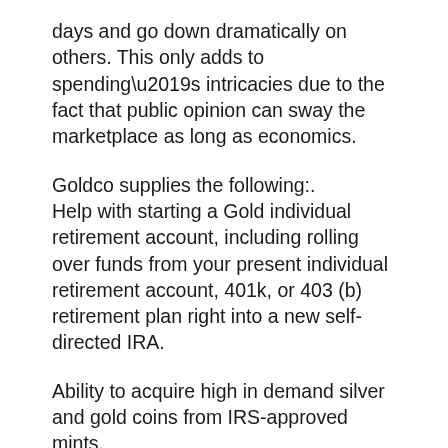days and go down dramatically on others. This only adds to spending’s intricacies due to the fact that public opinion can sway the marketplace as long as economics.
Goldco supplies the following:.
Help with starting a Gold individual retirement account, including rolling over funds from your present individual retirement account, 401k, or 403 (b) retirement plan right into a new self-directed IRA.
Ability to acquire high in demand silver and gold coins from IRS-approved mints.
Gold and silver bars are available from costs mints.